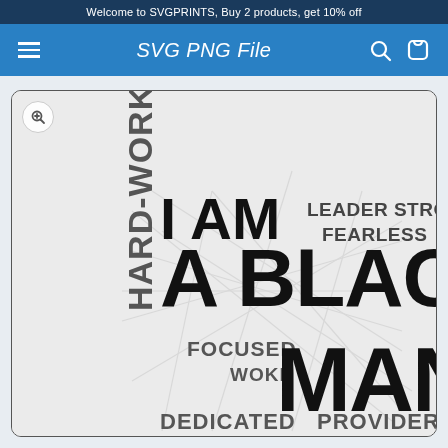Welcome to SVGPRINTS, Buy 2 products, get 10% off
SVG PNG File
[Figure (illustration): Word art graphic featuring the phrase 'I AM A BLACK MAN' in large bold black text, surrounded by descriptive words: LEADER, STRONG, FEARLESS, INTELLIGENT, HARD-WORKING, FOCUSED, WOKE, DEDICATED, PROVIDER in dark grey. Words are arranged at various angles forming a typographic composition on a light grey textured background.]